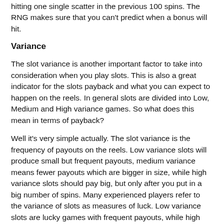hitting one single scatter in the previous 100 spins. The RNG makes sure that you can't predict when a bonus will hit.
Variance
The slot variance is another important factor to take into consideration when you play slots. This is also a great indicator for the slots payback and what you can expect to happen on the reels. In general slots are divided into Low, Medium and High variance games. So what does this mean in terms of payback?
Well it's very simple actually. The slot variance is the frequency of payouts on the reels. Low variance slots will produce small but frequent payouts, medium variance means fewer payouts which are bigger in size, while high variance slots should pay big, but only after you put in a big number of spins. Many experienced players refer to the variance of slots as measures of luck. Low variance slots are lucky games with frequent payouts, while high variance slots are...